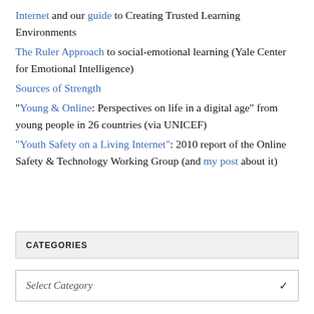Internet and our guide to Creating Trusted Learning Environments
The Ruler Approach to social-emotional learning (Yale Center for Emotional Intelligence)
Sources of Strength
"Young & Online: Perspectives on life in a digital age" from young people in 26 countries (via UNICEF)
"Youth Safety on a Living Internet": 2010 report of the Online Safety & Technology Working Group (and my post about it)
CATEGORIES
Select Category